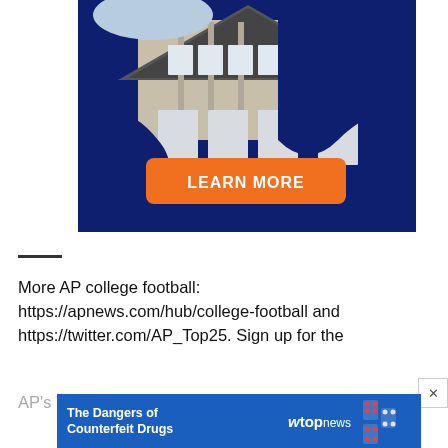[Figure (illustration): Advertisement banner showing a house exterior with blue background and an orange 'LEARN MORE' button]
More AP college football: https://apnews.com/hub/college-football and https://twitter.com/AP_Top25. Sign up for the AP's
[Figure (infographic): Bottom advertisement bar: 'The Dangers of Counterfeit Drugs' with wtop news logo and domino imagery]